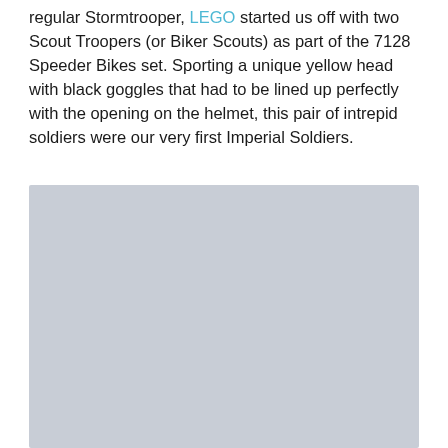regular Stormtrooper, LEGO started us off with two Scout Troopers (or Biker Scouts) as part of the 7128 Speeder Bikes set. Sporting a unique yellow head with black goggles that had to be lined up perfectly with the opening on the helmet, this pair of intrepid soldiers were our very first Imperial Soldiers.
[Figure (photo): A large light grey placeholder image rectangle]